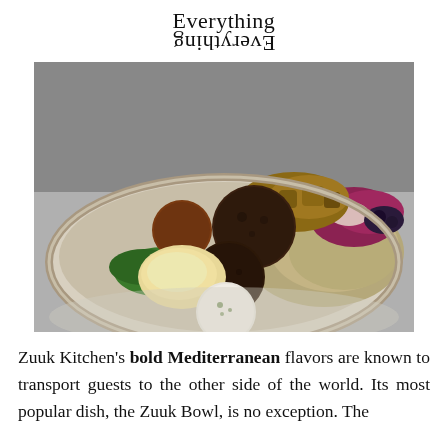[Figure (logo): Everything / Everything logo — the word 'Everything' appears once normally and once upside-down/mirrored below it, in serif font]
[Figure (photo): Overhead close-up photograph of a Mediterranean food bowl (Zuuk Bowl) containing dark falafel balls, hummus, labneh, tabbouleh, roasted potatoes, purple cabbage, greens, and feta cheese in a white bowl against a blurred grey background]
Zuuk Kitchen's bold Mediterranean flavors are known to transport guests to the other side of the world. Its most popular dish, the Zuuk Bowl, is no exception. The